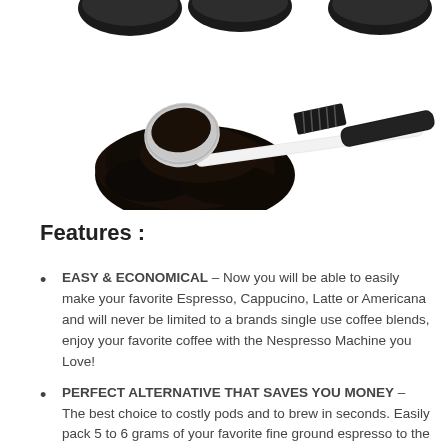[Figure (photo): Product photo showing a white coffee measuring scoop with ground coffee spilled, and a small cleaning brush, on a white background. Several dark capsules/pods visible at the top.]
Features :
EASY & ECONOMICAL – Now you will be able to easily make your favorite Espresso, Cappucino, Latte or Americana and will never be limited to a brands single use coffee blends, enjoy your favorite coffee with the Nespresso Machine you Love!
PERFECT ALTERNATIVE THAT SAVES YOU MONEY – The best choice to costly pods and to brew in seconds. Easily pack 5 to 6 grams of your favorite fine ground espresso to the rim,